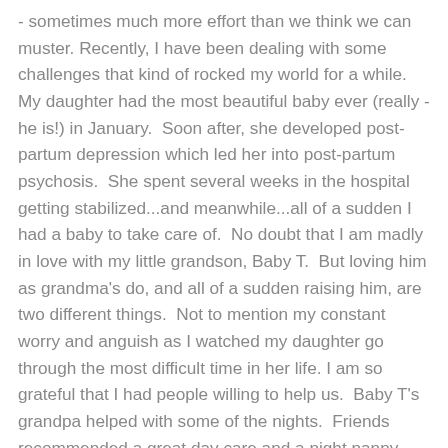- sometimes much more effort than we think we can muster. Recently, I have been dealing with some challenges that kind of rocked my world for a while. My daughter had the most beautiful baby ever (really - he is!) in January. Soon after, she developed post-partum depression which led her into post-partum psychosis. She spent several weeks in the hospital getting stabilized...and meanwhile...all of a sudden I had a baby to take care of. No doubt that I am madly in love with my little grandson, Baby T. But loving him as grandma's do, and all of a sudden raising him, are two different things. Not to mention my constant worry and anguish as I watched my daughter go through the most difficult time in her life. I am so grateful that I had people willing to help us. Baby T's grandpa helped with some of the nights. Friends recommended a great day care and a night nanny who is worth her weight in gold. Caring doctors helped get my daughter back to a place of stabilization. My own mom visited often and gave me a much needed break. My team at work was there for whatever I needed, even lending me strollers and baby blankets. And I